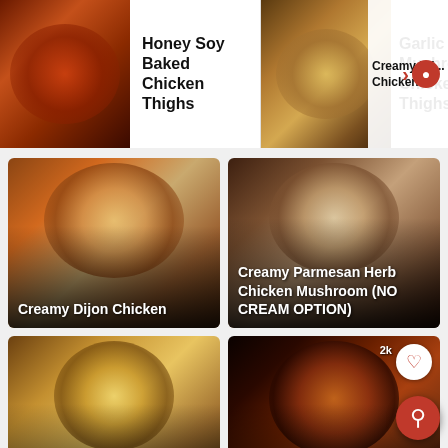[Figure (photo): Horizontal scrollable strip showing food recipe cards. First card: photo of honey soy baked chicken thighs with label 'Honey Soy Baked Chicken Thighs'. Second card: photo of garlic mushroom chicken thighs with label 'Garlic Mushroom Chicken Thighs'. Third card partially visible: 'Creamy Dij... Chicken' with search icon.]
[Figure (photo): Recipe card image for Creamy Dijon Chicken - food photo in skillet with creamy sauce]
Creamy Dijon Chicken
[Figure (photo): Recipe card image for Creamy Parmesan Herb Chicken Mushroom (NO CREAM OPTION) - overhead skillet shot]
Creamy Parmesan Herb Chicken Mushroom (NO CREAM OPTION)
[Figure (photo): Recipe card image for Garlic Mushroom Chicken Thighs - overhead bowl shot]
Garlic Mushroom Chicken Thighs
[Figure (photo): Recipe card image for Garlic Teriyaki Chicken Thighs - dark background with sauce drizzle]
Garlic Teriyaki Chicken Thighs
[Figure (photo): Two partially visible recipe card images at the bottom of the page]